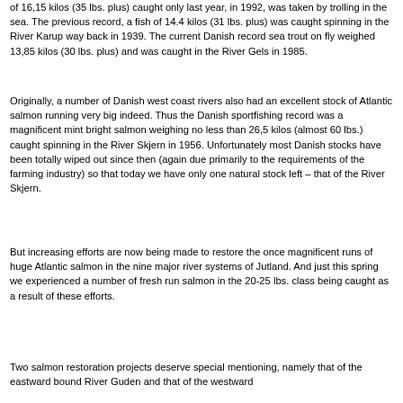of 16,15 kilos (35 lbs. plus) caught only last year, in 1992, was taken by trolling in the sea. The previous record, a fish of 14.4 kilos (31 lbs. plus) was caught spinning in the River Karup way back in 1939. The current Danish record sea trout on fly weighed 13,85 kilos (30 lbs. plus) and was caught in the River Gels in 1985.
Originally, a number of Danish west coast rivers also had an excellent stock of Atlantic salmon running very big indeed. Thus the Danish sportfishing record was a magnificent mint bright salmon weighing no less than 26,5 kilos (almost 60 lbs.) caught spinning in the River Skjern in 1956. Unfortunately most Danish stocks have been totally wiped out since then (again due primarily to the requirements of the farming industry) so that today we have only one natural stock left – that of the River Skjern.
But increasing efforts are now being made to restore the once magnificent runs of huge Atlantic salmon in the nine major river systems of Jutland. And just this spring we experienced a number of fresh run salmon in the 20-25 lbs. class being caught as a result of these efforts.
Two salmon restoration projects deserve special mentioning, namely that of the eastward bound River Guden and that of the westward